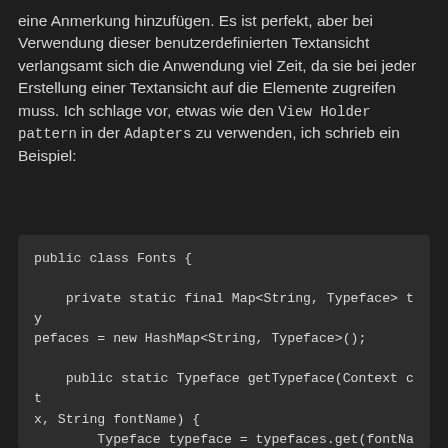eine Anmerkung hinzufügen. Es ist perfekt, aber bei Verwendung dieser benutzerdefinierten Textansicht verlangsamt sich die Anwendung viel Zeit, da sie bei jeder Erstellung einer Textansicht auf die Elemente zugreifen muss. Ich schlage vor, etwas wie den View Holder pattern in der Adapters zu verwenden, ich schrieb ein Beispiel:
[Figure (screenshot): Code block showing Java class Fonts with a private static final Map<String, Typeface> typefaces field and a public static Typeface getTypeface(Context ctx, String fontName) method, including Typeface.createFromAsset call.]